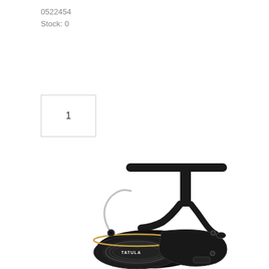0522454
Stock: 0
1
[Figure (photo): Black Daiwa Tatula spinning fishing reel with T-wing handle, shown in profile view on white background. The reel body and spool are black, with silver bail wire and gold accent ring visible near the spool. 'TATULA' text is visible on the spool.]